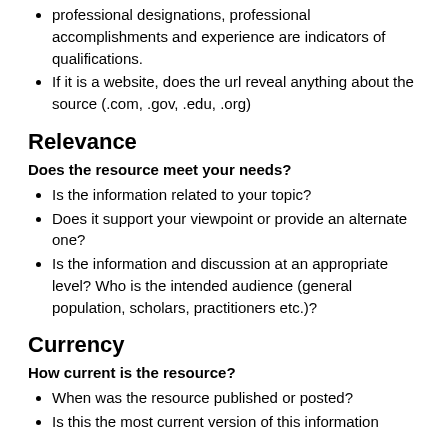professional designations, professional accomplishments and experience are indicators of qualifications.
If it is a website, does the url reveal anything about the source (.com, .gov, .edu, .org)
Relevance
Does the resource meet your needs?
Is the information related to your topic?
Does it support your viewpoint or provide an alternate one?
Is the information and discussion at an appropriate level? Who is the intended audience (general population, scholars, practitioners etc.)?
Currency
How current is the resource?
When was the resource published or posted?
Is this the most current version of this information